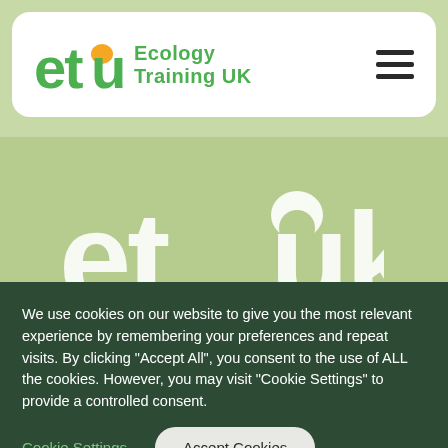etuk Ecology Training UK
[Figure (logo): ETUK (Ecology Training UK) logo — large white stylized etuk text on light green background]
We use cookies on our website to give you the most relevant experience by remembering your preferences and repeat visits. By clicking "Accept All", you consent to the use of ALL the cookies. However, you may visit "Cookie Settings" to provide a controlled consent.
Cookie Settings
Accept Cookies